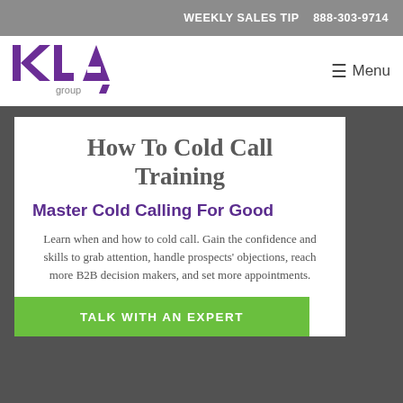WEEKLY SALES TIP   888-303-9714
[Figure (logo): KLA Group logo with purple KLA letters and 'group' text below]
≡ Menu
How To Cold Call Training
Master Cold Calling For Good
Learn when and how to cold call. Gain the confidence and skills to grab attention, handle prospects' objections, reach more B2B decision makers, and set more appointments.
TALK WITH AN EXPERT